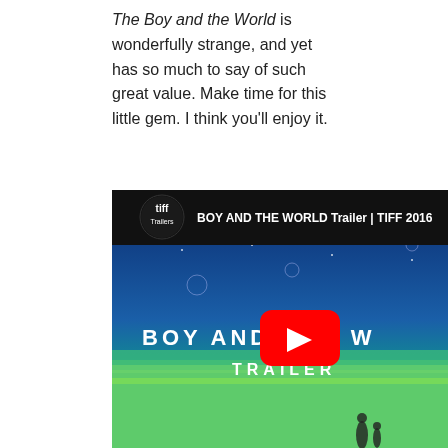The Boy and the World is wonderfully strange, and yet has so much to say of such great value. Make time for this little gem. I think you'll enjoy it.
[Figure (screenshot): YouTube video thumbnail showing 'BOY AND THE WORLD Trailer | TIFF 2016' with tiff Trailers logo, animated scene with blue starry sky and green landscape, YouTube play button overlay, text 'BOY AND THE WORLD TRAILER']